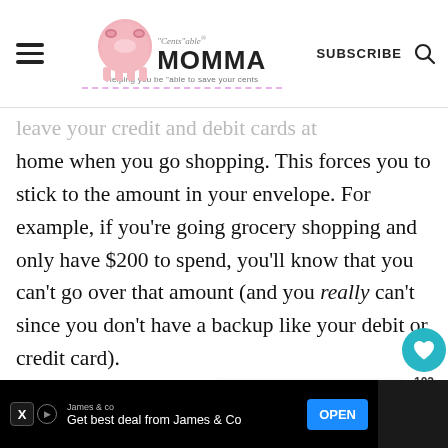"Cents"able MOMMA — Helping you be "able to save your cents | SUBSCRIBE
...leave your credit and debit cards at home when you go shopping. This forces you to stick to the amount in your envelope. For example, if you're going grocery shopping and only have $200 to spend, you'll know that you can't go over that amount (and you really can't since you don't have a backup like your debit or credit card).
[Figure (other): Advertisement bar at bottom: James & co — Get best deal from James & Co — OPEN button]
[Figure (other): What's Next overlay: How to Get Started with ...]